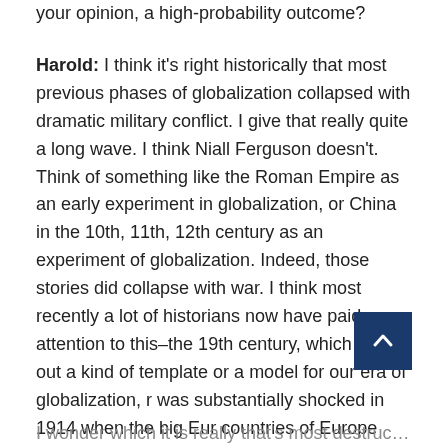your opinion, a high-probability outcome?
Harold: I think it's right historically that most previous phases of globalization collapsed with dramatic military conflict. I give that really quite a long wave. I think Niall Ferguson doesn't. Think of something like the Roman Empire as an early experiment in globalization, or China in the 10th, 11th, 12th century as an experiment of globalization. Indeed, those stories did collapse with war. I think most recently a lot of historians now have paid attention to this–the 19th century, which holds out a kind of template or a model for our era of globalization, r… was substantially shocked in 1914 when the big Eur… countries of Europe went to war with each other.
I wonder which it is really that's most destructive, was a…